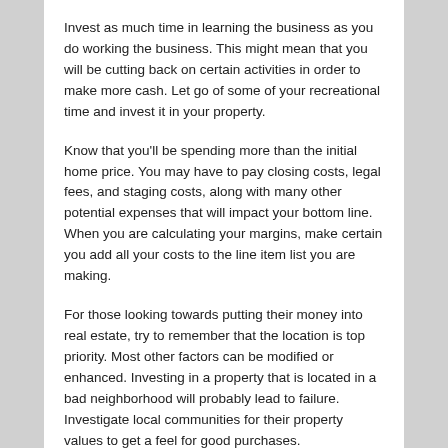Invest as much time in learning the business as you do working the business. This might mean that you will be cutting back on certain activities in order to make more cash. Let go of some of your recreational time and invest it in your property.
Know that you'll be spending more than the initial home price. You may have to pay closing costs, legal fees, and staging costs, along with many other potential expenses that will impact your bottom line. When you are calculating your margins, make certain you add all your costs to the line item list you are making.
For those looking towards putting their money into real estate, try to remember that the location is top priority. Most other factors can be modified or enhanced. Investing in a property that is located in a bad neighborhood will probably lead to failure. Investigate local communities for their property values to get a feel for good purchases.
Figure out the amount of time you can really devote to